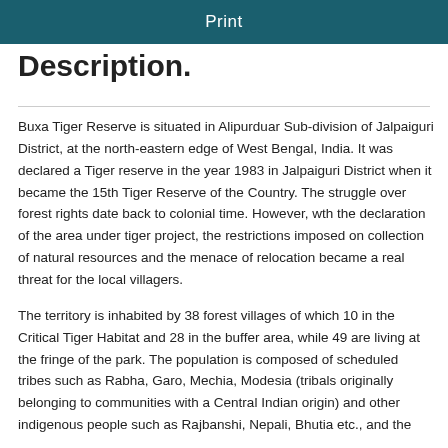Print
Description.
Buxa Tiger Reserve is situated in Alipurduar Sub-division of Jalpaiguri District, at the north-eastern edge of West Bengal, India. It was declared a Tiger reserve in the year 1983 in Jalpaiguri District when it became the 15th Tiger Reserve of the Country. The struggle over forest rights date back to colonial time. However, wth the declaration of the area under tiger project, the restrictions imposed on collection of natural resources and the menace of relocation became a real threat for the local villagers.
The territory is inhabited by 38 forest villages of which 10 in the Critical Tiger Habitat and 28 in the buffer area, while 49 are living at the fringe of the park. The population is composed of scheduled tribes such as Rabha, Garo, Mechia, Modesia (tribals originally belonging to communities with a Central Indian origin) and other indigenous people such as Rajbanshi, Nepali, Bhutia etc., and the